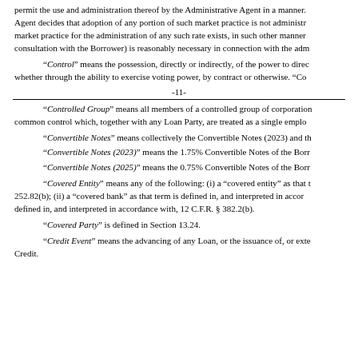permit the use and administration thereof by the Administrative Agent in a manner. Agent decides that adoption of any portion of such market practice is not administr market practice for the administration of any such rate exists, in such other manner consultation with the Borrower) is reasonably necessary in connection with the adm
“Control” means the possession, directly or indirectly, of the power to direc whether through the ability to exercise voting power, by contract or otherwise. “Co
-11-
“Controlled Group” means all members of a controlled group of corporation common control which, together with any Loan Party, are treated as a single emplo
“Convertible Notes” means collectively the Convertible Notes (2023) and th
“Convertible Notes (2023)” means the 1.75% Convertible Notes of the Borr
“Convertible Notes (2025)” means the 0.75% Convertible Notes of the Borr
“Covered Entity” means any of the following: (i) a “covered entity” as that t 252.82(b); (ii) a “covered bank” as that term is defined in, and interpreted in accor defined in, and interpreted in accordance with, 12 C.F.R. § 382.2(b).
“Covered Party” is defined in Section 13.24.
“Credit Event” means the advancing of any Loan, or the issuance of, or exte Credit.